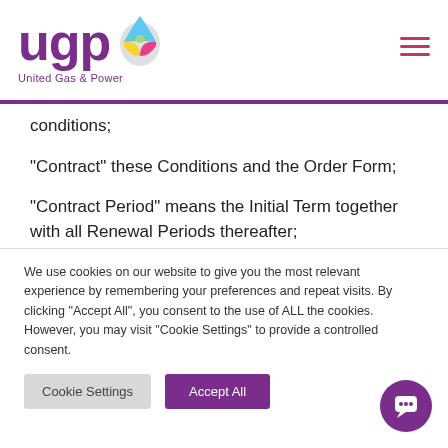[Figure (logo): United Gas & Power (UGP) logo with colorful droplet icon and purple text]
conditions;
“Contract” these Conditions and the Order Form;
“Contract Period” means the Initial Term together with all Renewal Periods thereafter;
We use cookies on our website to give you the most relevant experience by remembering your preferences and repeat visits. By clicking “Accept All”, you consent to the use of ALL the cookies. However, you may visit "Cookie Settings" to provide a controlled consent.